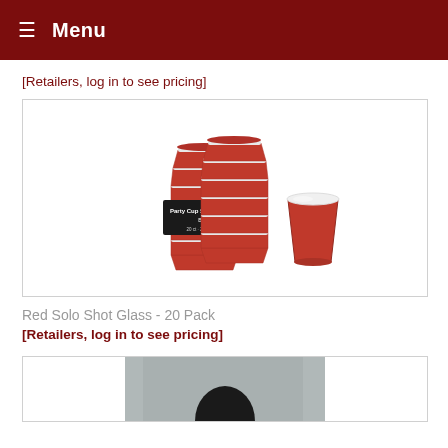Menu
[Retailers, log in to see pricing]
[Figure (photo): Red Solo Shot Glass 20-pack product image showing stacked red mini cups with packaging label and one single cup to the right]
Red Solo Shot Glass - 20 Pack
[Retailers, log in to see pricing]
[Figure (photo): Partially visible product image at bottom of page, appears to show a dark-colored item against grey background]